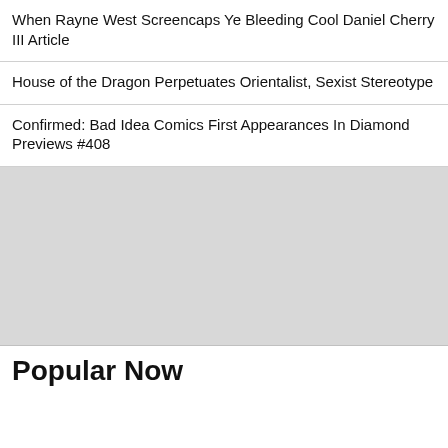When Rayne West Screencaps Ye Bleeding Cool Daniel Cherry III Article
House of the Dragon Perpetuates Orientalist, Sexist Stereotype
Confirmed: Bad Idea Comics First Appearances In Diamond Previews #408
[Figure (other): Gray advertisement placeholder block]
Popular Now